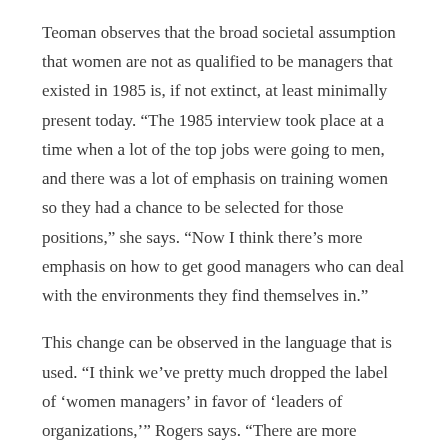Teoman observes that the broad societal assumption that women are not as qualified to be managers that existed in 1985 is, if not extinct, at least minimally present today. “The 1985 interview took place at a time when a lot of the top jobs were going to men, and there was a lot of emphasis on training women so they had a chance to be selected for those positions,” she says. “Now I think there’s more emphasis on how to get good managers who can deal with the environments they find themselves in.”
This change can be observed in the language that is used. “I think we’ve pretty much dropped the label of ‘women managers’ in favor of ‘leaders of organizations,’” Rogers says. “There are more women in leadership positions, so using the ‘women’ label is kind of silly.”
This increase in representation doesn’t necessarily mean that true equality has been achieved, but it may suggest that situations have to be assessed with more nuance. As Rogers says, “Women are certainly more ubiquitous in academic library management, but whether